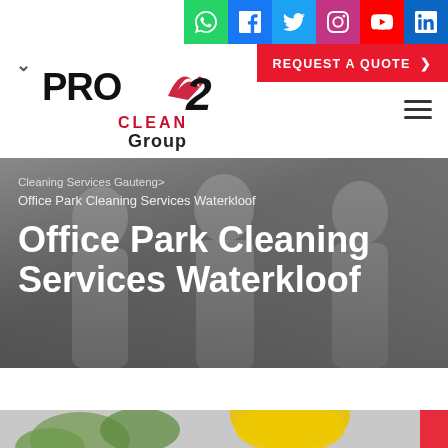Social icons: WhatsApp, Facebook, Twitter, Instagram, YouTube, LinkedIn
REQUEST A QUOTE >
[Figure (logo): PRO2CLEAN Group logo with red flame element]
Cleaning Services Gauteng>
Office Park Cleaning Services Waterkloof
Office Park Cleaning Services Waterkloof
[Figure (photo): Cleaning workers in protective white suits and masks at bottom of page]